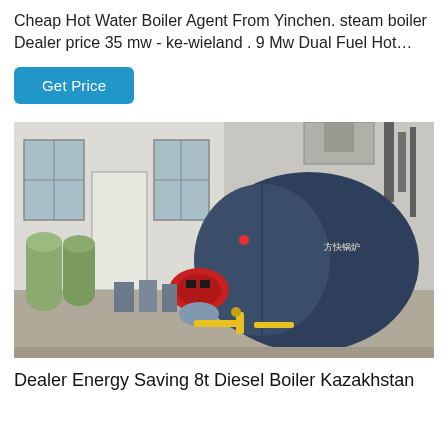Cheap Hot Water Boiler Agent From Yinchen. steam boiler Dealer price 35 mw - ke-wieland . 9 Mw Dual Fuel Hot…
[Figure (photo): Industrial boiler installation in a large room. A large dark blue horizontal steam/hot water boiler with Chinese brand markings occupies the right side. A red burner is mounted on the front. Yellow gas piping runs along the bottom. On the left side are green water treatment vessels and pumping equipment. The room has white walls, concrete floor, and tall windows.]
Dealer Energy Saving 8t Diesel Boiler Kazakhstan